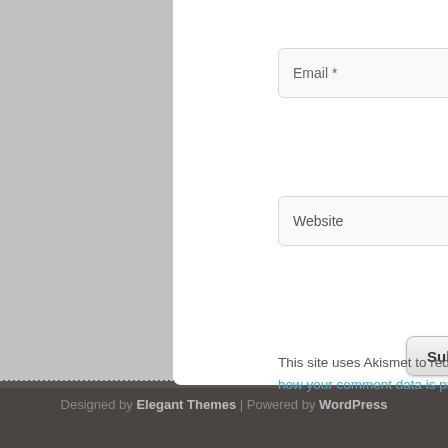Email *
Website
Submit
This site uses Akismet to reduce spam. Learn how your comment data is processed.
Amazon Prime Free Trial
Designed by Elegant Themes | Powered by WordPress